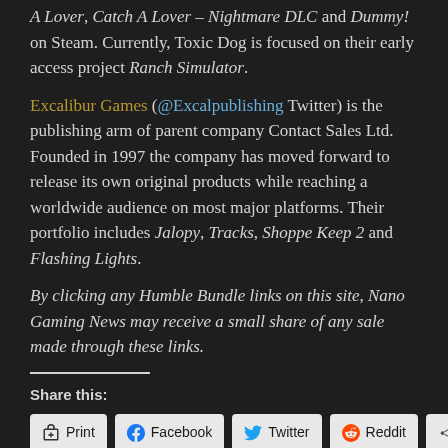A Lover, Catch A Lover – Nightmare DLC and Dummy! on Steam. Currently, Toxic Dog is focused on their early access project Ranch Simulator.
Excalibur Games (@Excalpublishing Twitter) is the publishing arm of parent company Contact Sales Ltd. Founded in 1997 the company has moved forward to release its own original products while reaching a worldwide audience on most major platforms. Their portfolio includes Jalopy, Tracks, Shoppe Keep 2 and Flashing Lights.
By clicking any Humble Bundle links on this site, Nano Gaming News may receive a small share of any sale made through these links.
Share this:
Print
Facebook
Twitter
Reddit
More